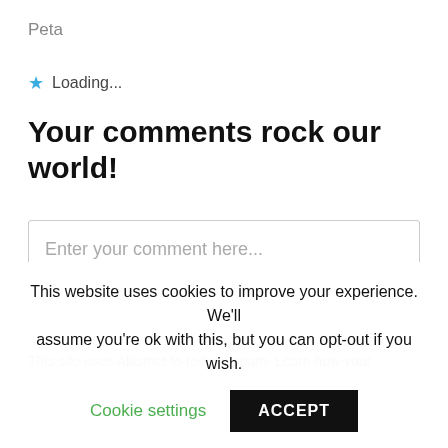Peta
★ Loading...
Your comments rock our world!
Enter your comment here...
This site uses Akismet to reduce spam. Learn how your
This website uses cookies to improve your experience. We'll assume you're ok with this, but you can opt-out if you wish.
Cookie settings   ACCEPT